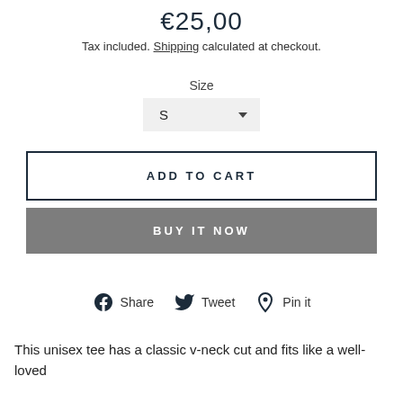€25,00
Tax included. Shipping calculated at checkout.
Size
S (dropdown)
ADD TO CART
BUY IT NOW
Share  Tweet  Pin it
This unisex tee has a classic v-neck cut and fits like a well-loved